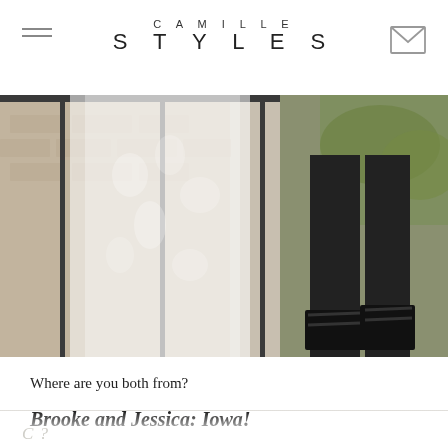CAMILLE STYLES
[Figure (photo): Fashion photo showing a person in black outfit near a brick wall with iron fence and a white lace garment hanging nearby]
Where are you both from?
Brooke and Jessica: Iowa!
Brooke, what are some favorite venues and events you've worked on as a talent buyer at C?